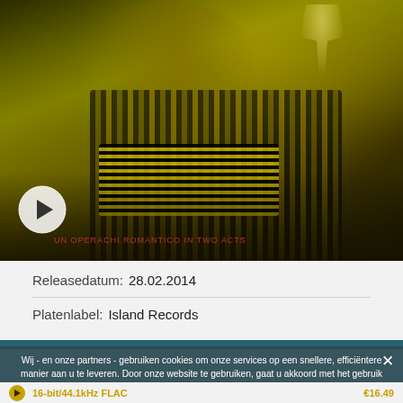[Figure (photo): Album cover photo showing a person playing an accordion, with a wine glass and city backdrop in a dark yellow/gold toned image. Text at bottom: UN OPERACHI ROMANTICO IN TWO ACTS. Play button overlay in bottom left.]
Releasedatum:  28.02.2014
Platenlabel:  Island Records
Wij - en onze partners - gebruiken cookies om onze services op een snellere, efficiëntere manier aan u te leveren. Door onze website te gebruiken, gaat u akkoord met het gebruik van cookies zoals beschreven in ons Cookiebeleid.
16-bit/44.1kHz FLAC
€16.49